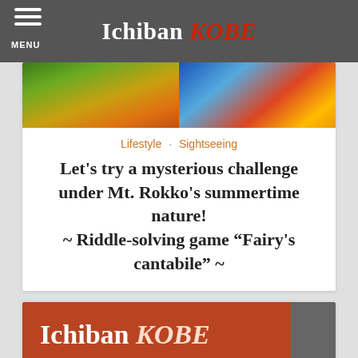Ichiban KOBE
[Figure (photo): Hero image split: left side shows yellow-orange tropical flowers and green foliage; right side shows colorful Japanese signage/packaging]
Lifestyle · Sightseeing
Let's try a mysterious challenge under Mt. Rokko's summertime nature! ~ Riddle-solving game “Fairy's cantabile” ~
[Figure (logo): Ichiban KOBE logo on red-brown background]
“Ichiban” means “the best” or “the most precious” in Japanese;